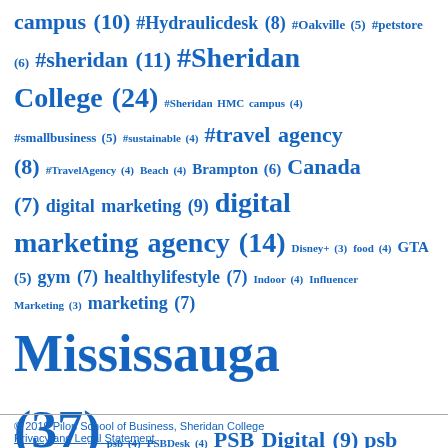[Figure (infographic): Tag cloud showing hashtags and keywords with frequency counts in parentheses, rendered in varying font sizes in blue. Tags include: campus (10), #Hydraulicdesk (8), #Oakville (5), #petstore (6), #sheridan (11), #Sheridan College (24), #Sheridan HMC campus (4), #smallbusiness (5), #sustainable (4), #travel agency (8), #TravelAgency (4), Beach (4), Brampton (6), Canada (7), digital marketing (9), digital marketing agency (14), Disney+ (3), food (4), GTA (5), gym (7), healthylifestyle (7), Indoor (4), Influencer Marketing (3), marketing (7), Mississauga (37), psb (4), PSBDesk (4), PSB Digital (9), psb fitness (8), PSB Office (5), PSB TRAVEL (4), SEO (6), Small Business (6), social media marketing (5), Student (4), Toronto (7), workout (7)]
© 2019 Pilon School of Business, Sheridan College
Privacy and Legal Statement